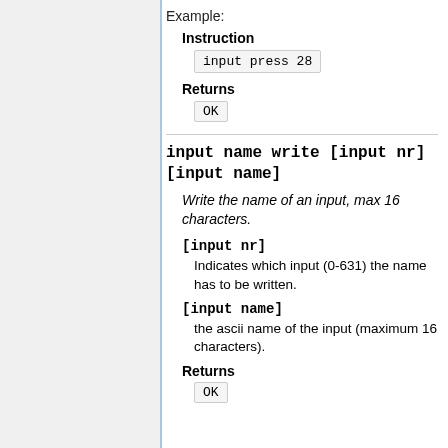Example:
Instruction
input press 28
Returns
OK
input name write [input nr][input name]
Write the name of an input, max 16 characters.
[input nr]
Indicates which input (0-631) the name has to be written.
[input name]
the ascii name of the input (maximum 16 characters).
Returns
OK